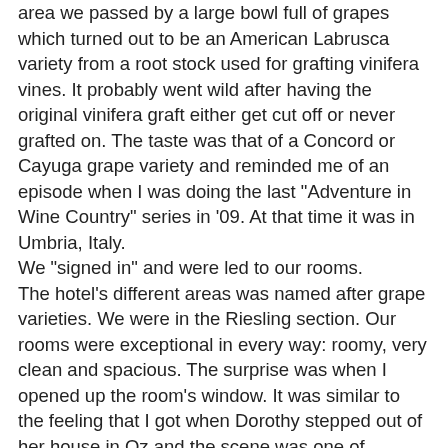area we passed by a large bowl full of grapes which turned out to be an American Labrusca variety from a root stock used for grafting vinifera vines. It probably went wild after having the original vinifera graft either get cut off or never grafted on. The taste was that of a Concord or Cayuga grape variety and reminded me of an episode when I was doing the last "Adventure in Wine Country" series in '09. At that time it was in Umbria, Italy.
We "signed in" and were led to our rooms.
The hotel's different areas was named after grape varieties. We were in the Riesling section. Our rooms were exceptional in every way: roomy, very clean and spacious. The surprise was when I opened up the room's window. It was similar to the feeling that I got when Dorothy stepped out of her house in Oz and the scene was one of splendour.
Outside the window was a world of sculpted flower bushes that melded into cut greener which melded into the hills making a superb Italian Tapestry like picture. The sounds of country filled the air : a crowing rooster, a goose honking, barking dog and the quiet breeze sifting itself through the open window shutters. The rest was quiet peace.
I showered and prepared to meet Paula Valente from Wines of Brazil in the next chapter.